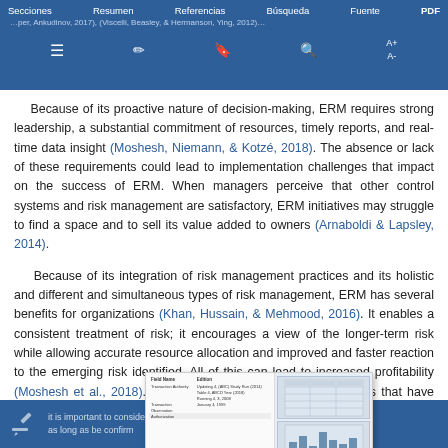Secciones   Resumen   Referencias   Búsqueda   Fuente   PDF
Because of its proactive nature of decision-making, ERM requires strong leadership, a substantial commitment of resources, timely reports, and real-time data insight (Moshesh, Niemann, & Kotzé, 2018). The absence or lack of these requirements could lead to implementation challenges that impact on the success of ERM. When managers perceive that other control systems and risk management are satisfactory, ERM initiatives may struggle to find a space and to sell its value added to owners (Arnaboldi & Lapsley, 2014).
Because of its integration of risk management practices and its holistic and different and simultaneous types of risk management, ERM has several benefits for organizations (Khan, Hussain, & Mehmood, 2016). It enables a consistent treatment of risk; it encourages a view of the longer-term risk while allowing accurate resource allocation and improved and faster reaction to the emerging risk identified. All of this can lead to increased profitability (Moshesh et al., 2018). It has also been shown that companies that have ERM systems in place have a higher market value (Hoyt & Liebenberg, 2011).
it is important to consider ... as long as be confirm ... within the industry. company also g... company also be board
[Figure (table-as-image): Thumbnail popup showing a table document overlay with rows of data and a chart section on the right side]